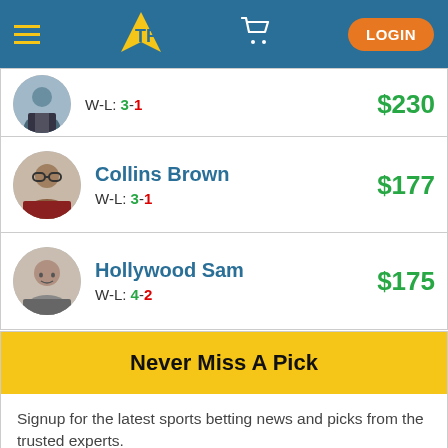[Figure (screenshot): App navigation header with hamburger menu, TP logo, cart icon, and LOGIN button on blue background]
W-L: 3-1  $230
Collins Brown  W-L: 3-1  $177
Hollywood Sam  W-L: 4-2  $175
Never Miss A Pick
Signup for the latest sports betting news and picks from the trusted experts.
EMAIL ADDRESS *